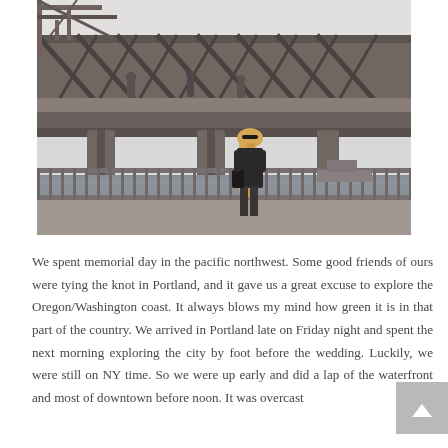[Figure (photo): A woman with long blonde hair standing near a metal railing in front of a large industrial/railway bridge structure. She is wearing dark clothing. The scene is overcast and urban, with a waterfront visible in the background.]
We spent memorial day in the pacific northwest. Some good friends of ours were tying the knot in Portland, and it gave us a great excuse to explore the Oregon/Washington coast. It always blows my mind how green it is in that part of the country. We arrived in Portland late on Friday night and spent the next morning exploring the city by foot before the wedding. Luckily, we were still on NY time. So we were up early and did a lap of the waterfront and most of downtown before noon. It was overcast